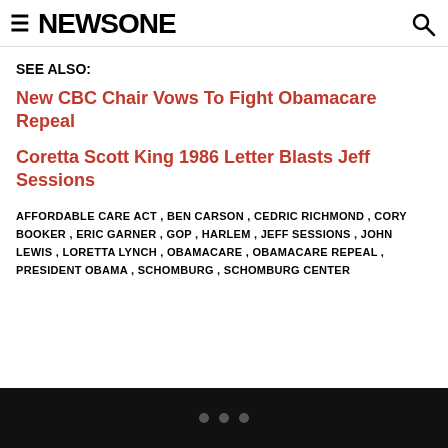NEWSONE
SEE ALSO:
New CBC Chair Vows To Fight Obamacare Repeal
Coretta Scott King 1986 Letter Blasts Jeff Sessions
AFFORDABLE CARE ACT , BEN CARSON , CEDRIC RICHMOND , CORY BOOKER , ERIC GARNER , GOP , HARLEM , JEFF SESSIONS , JOHN LEWIS , LORETTA LYNCH , OBAMACARE , OBAMACARE REPEAL , PRESIDENT OBAMA , SCHOMBURG , SCHOMBURG CENTER